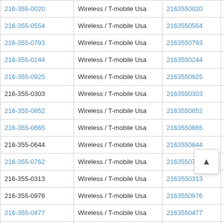| Phone | Carrier | Number | Action |
| --- | --- | --- | --- |
| 216-355-0020 | Wireless / T-mobile Usa | 2163550020 | View Resu |
| 216-355-0554 | Wireless / T-mobile Usa | 2163550554 | View Resu |
| 216-355-0793 | Wireless / T-mobile Usa | 2163550793 | View Resu |
| 216-355-0244 | Wireless / T-mobile Usa | 2163550244 | View Resu |
| 216-355-0925 | Wireless / T-mobile Usa | 2163550925 | View Resu |
| 216-355-0303 | Wireless / T-mobile Usa | 2163550303 | View Resu |
| 216-355-0852 | Wireless / T-mobile Usa | 2163550852 | View Resu |
| 216-355-0665 | Wireless / T-mobile Usa | 2163550665 | View Resu |
| 216-355-0644 | Wireless / T-mobile Usa | 2163550644 | View Resu |
| 216-355-0762 | Wireless / T-mobile Usa | 2163550762 | View Resu |
| 216-355-0313 | Wireless / T-mobile Usa | 2163550313 | View Resu |
| 216-355-0976 | Wireless / T-mobile Usa | 2163550976 | View Resu |
| 216-355-0477 | Wireless / T-mobile Usa | 2163550477 | View Resu |
| 216-355-0135 | Wireless / T-mobile Usa | 2163550135 | View Resu |
| 216-355-0946 | Wireless / T-mobile Usa | 2163550946 | View Resu |
| 216-355-0209 | Wireless / T-mobile Usa | 2163550209 | View Resu |
| 216-355-0281 | Wireless / T-mobile Usa | 2163550281 | View Resu |
| 216-355-0339 | Wireless / T-mobile Usa | 2163550339 | View Resu |
| 216-355-0520 | Wireless / T-mobile Usa | 2163550520 | View Resu |